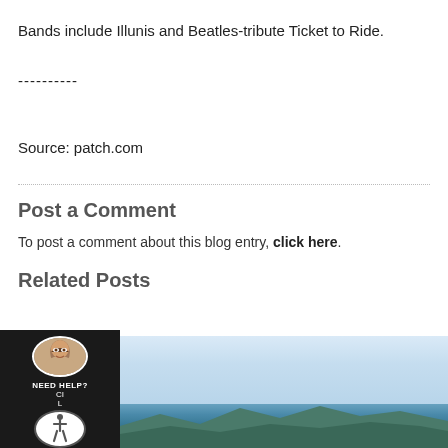Bands include Illunis and Beatles-tribute Ticket to Ride.
----------
Source: patch.com
Post a Comment
To post a comment about this blog entry, click here.
Related Posts
[Figure (photo): Landscape photo showing a blue sky with clouds over distant hills or mountains, with an overlay widget in the bottom-left corner showing a woman's avatar photo, 'NEED HELP? CI L' text, and an accessibility icon.]